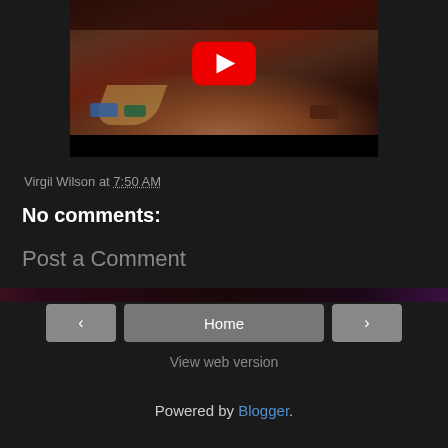[Figure (screenshot): YouTube video embed thumbnail showing a stadium event/concert with crowd and vehicles on a stage, with a red YouTube play button overlay. Below the thumbnail is a black video control bar.]
Virgil Wilson at 7:50 AM
No comments:
Post a Comment
Home | < | > | View web version | Powered by Blogger.